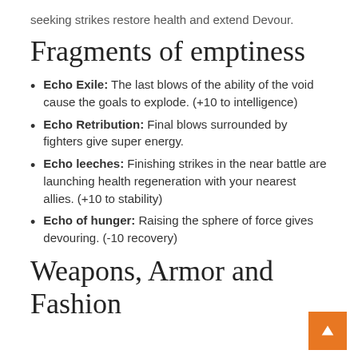seeking strikes restore health and extend Devour.
Fragments of emptiness
Echo Exile: The last blows of the ability of the void cause the goals to explode. (+10 to intelligence)
Echo Retribution: Final blows surrounded by fighters give super energy.
Echo leeches: Finishing strikes in the near battle are launching health regeneration with your nearest allies. (+10 to stability)
Echo of hunger: Raising the sphere of force gives devouring. (-10 recovery)
Weapons, Armor and Fashion